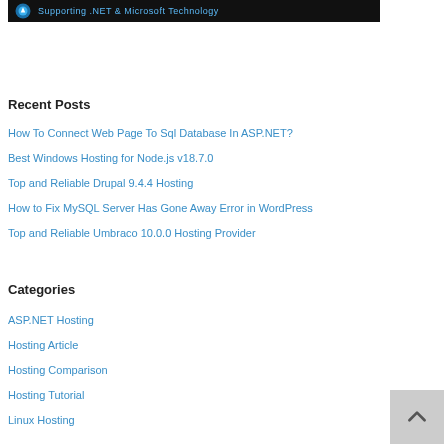[Figure (screenshot): Black banner with logo and text 'Supporting .NET & Microsoft Technology']
Recent Posts
How To Connect Web Page To Sql Database In ASP.NET?
Best Windows Hosting for Node.js v18.7.0
Top and Reliable Drupal 9.4.4 Hosting
How to Fix MySQL Server Has Gone Away Error in WordPress
Top and Reliable Umbraco 10.0.0 Hosting Provider
Categories
ASP.NET Hosting
Hosting Article
Hosting Comparison
Hosting Tutorial
Linux Hosting